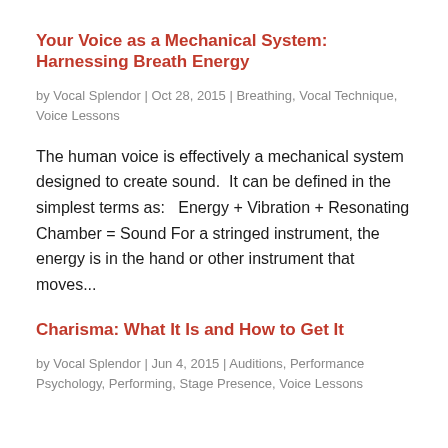Your Voice as a Mechanical System: Harnessing Breath Energy
by Vocal Splendor | Oct 28, 2015 | Breathing, Vocal Technique, Voice Lessons
The human voice is effectively a mechanical system designed to create sound.  It can be defined in the simplest terms as:   Energy + Vibration + Resonating Chamber = Sound For a stringed instrument, the energy is in the hand or other instrument that moves...
Charisma: What It Is and How to Get It
by Vocal Splendor | Jun 4, 2015 | Auditions, Performance Psychology, Performing, Stage Presence, Voice Lessons